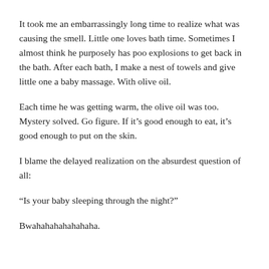It took me an embarrassingly long time to realize what was causing the smell. Little one loves bath time. Sometimes I almost think he purposely has poo explosions to get back in the bath. After each bath, I make a nest of towels and give little one a baby massage. With olive oil.
Each time he was getting warm, the olive oil was too. Mystery solved. Go figure. If it’s good enough to eat, it’s good enough to put on the skin.
I blame the delayed realization on the absurdest question of all:
“Is your baby sleeping through the night?”
Bwahahahahahahaha.